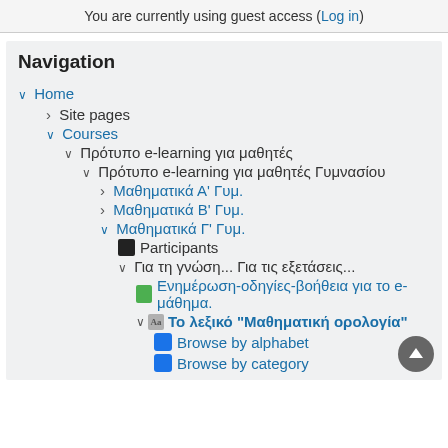You are currently using guest access (Log in)
Navigation
∨ Home
› Site pages
∨ Courses
∨ Πρότυπο e-learning για μαθητές
∨ Πρότυπο e-learning για μαθητές Γυμνασίου
› Μαθηματικά Α' Γυμ.
› Μαθηματικά Β' Γυμ.
∨ Μαθηματικά Γ' Γυμ.
■ Participants
∨ Για τη γνώση... Για τις εξετάσεις...
Ενημέρωση-οδηγίες-βοήθεια για το e-μάθημα.
∨ Το λεξικό "Μαθηματική ορολογία"
Browse by alphabet
Browse by category